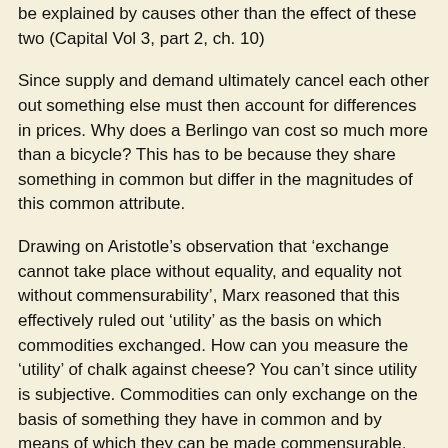be explained by causes other than the effect of these two (Capital Vol 3, part 2, ch. 10)
Since supply and demand ultimately cancel each other out something else must then account for differences in prices. Why does a Berlingo van cost so much more than a bicycle? This has to be because they share something in common but differ in the magnitudes of this common attribute.
Drawing on Aristotle’s observation that ‘exchange cannot take place without equality, and equality not without commensurability’, Marx reasoned that this effectively ruled out ‘utility’ as the basis on which commodities exchanged. How can you measure the ‘utility’ of chalk against cheese? You can’t since utility is subjective. Commodities can only exchange on the basis of something they have in common and by means of which they can be made commensurable. Without commensurability there is no way of telling whether one commodity was objectively equivalent to another, thus allowing you to make an exchange. After all, you wouldn’t buy a bicycle for the price of a Berlingo van, would you?